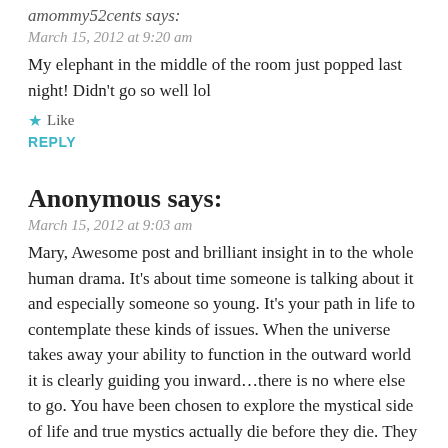amommy52cents says:
March 15, 2012 at 9:20 am
My elephant in the middle of the room just popped last night! Didn't go so well lol
★ Like
REPLY
Anonymous says:
March 15, 2012 at 9:03 am
Mary, Awesome post and brilliant insight in to the whole human drama. It's about time someone is talking about it and especially someone so young. It's your path in life to contemplate these kinds of issues. When the universe takes away your ability to function in the outward world it is clearly guiding you inward...there is no where else to go. You have been chosen to explore the mystical side of life and true mystics actually die before they die. They enter a place where they no longer see the two worlds (inner or